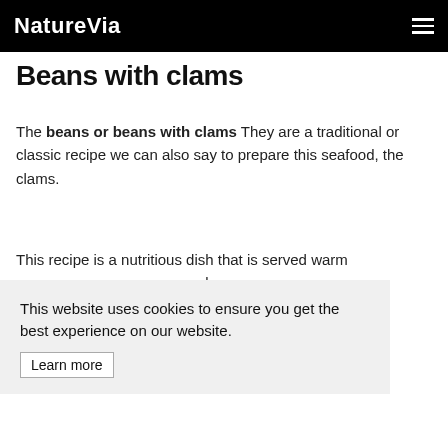NatureVia
Beans with clams
The beans or beans with clams They are a traditional or classic recipe we can also say to prepare this seafood, the clams.
This recipe is a nutritious dish that is served warm … cond
This website uses cookies to ensure you get the best experience on our website. Learn more